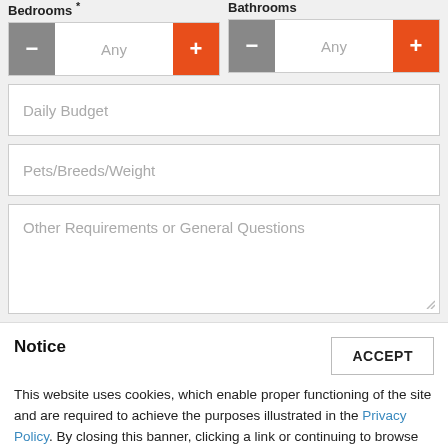Bedrooms *
Bathrooms
- Any +
- Any +
Daily Budget
Pets/Breeds/Weight
Other Requirements or General Questions
Notice
This website uses cookies, which enable proper functioning of the site and are required to achieve the purposes illustrated in the Privacy Policy. By closing this banner, clicking a link or continuing to browse otherwise, you agree to the use of cookies.